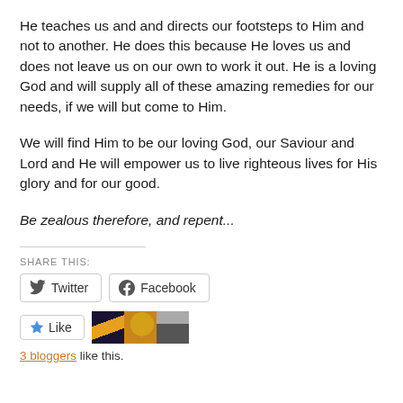He teaches us and and directs our footsteps to Him and not to another. He does this because He loves us and does not leave us on our own to work it out. He is a loving God and will supply all of these amazing remedies for our needs, if we will but come to Him.
We will find Him to be our loving God, our Saviour and Lord and He will empower us to live righteous lives for His glory and for our good.
Be zealous therefore, and repent...
SHARE THIS:
Twitter  Facebook
Like  3 bloggers like this.